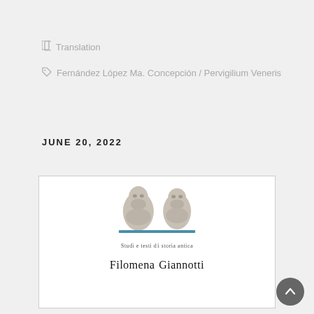Translation
Fernández López Ma. Concepción / Pervigilium Veneris
JUNE 20, 2022
[Figure (illustration): Book cover showing two ancient Roman/Greek marble busts, a teal horizontal rule, the series text 'Studi e testi di storia antica', and the author name 'Filomena Giannotti']
Filomena Giannotti